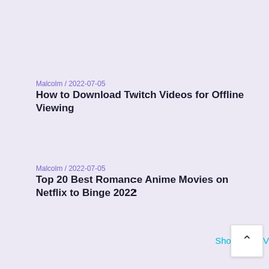Malcolm / 2022-07-05
How to Download Twitch Videos for Offline Viewing
Malcolm / 2022-07-05
Top 20 Best Romance Anime Movies on Netflix to Binge 2022
Show More V